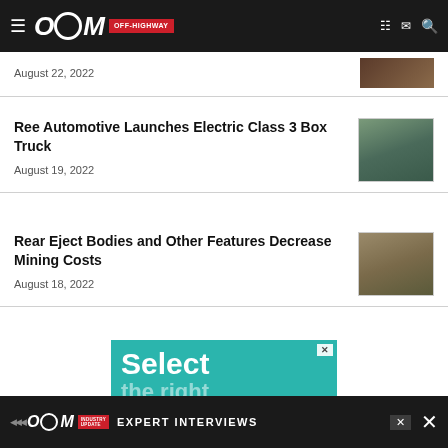OEM Off-Highway
August 22, 2022
Ree Automotive Launches Electric Class 3 Box Truck
August 19, 2022
Rear Eject Bodies and Other Features Decrease Mining Costs
August 18, 2022
[Figure (screenshot): Advertisement banner with teal background showing text 'Select the right PODCAST']
OEM Industry Update - EXPERT INTERVIEWS